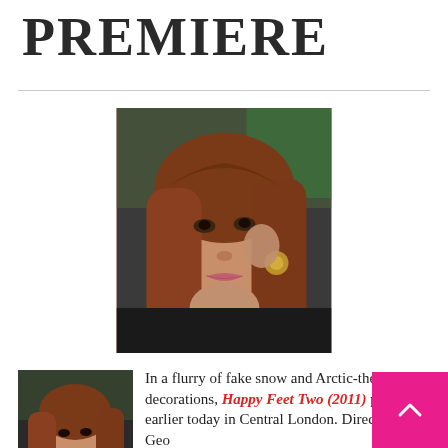PREMIERE
[Figure (photo): Close-up photo of a young woman with long auburn/red hair at what appears to be a public event, crowd visible in background]
[Figure (photo): Smaller thumbnail of the same woman with long red hair]
In a flurry of fake snow and Arctic-themed decorations, Happy Feet Two (2011) premiered earlier today in Central London. Directed by George Miller, the movie brings back the